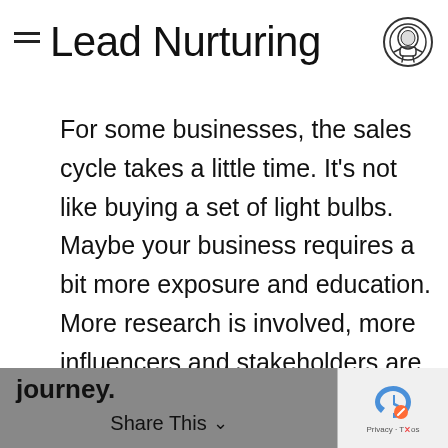Lead Nurturing
For some businesses, the sales cycle takes a little time. It’s not like buying a set of light bulbs. Maybe your business requires a bit more exposure and education. More research is involved, more influencers and stakeholders are entering the fray, and buyers are depending more on industry experts and leaders to help make decisions. With this in mind, your blog can play a huge role in nurturing prospects down the buyer’s journey.
journey. Share This